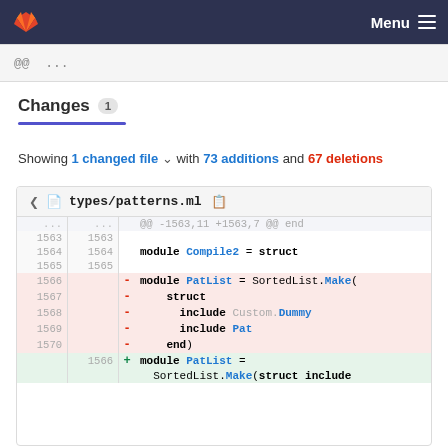Menu
@@  ...  ...
Changes 1
Showing 1 changed file with 73 additions and 67 deletions
| old ln | new ln | sign | code |
| --- | --- | --- | --- |
| ... | ... |  | @@ -1563,11 +1563,7 @@ end |
| 1563 | 1563 |  |  |
| 1564 | 1564 |  |   module Compile2 = struct |
| 1565 | 1565 |  |  |
| 1566 |  | - |   module PatList = SortedList.Make( |
| 1567 |  | - |     struct |
| 1568 |  | - |       include Custom.Dummy |
| 1569 |  | - |       include Pat |
| 1570 |  | - |     end) |
|  | 1566 | + |   module PatList = |
|  |  |  |     SortedList.Make(struct include |